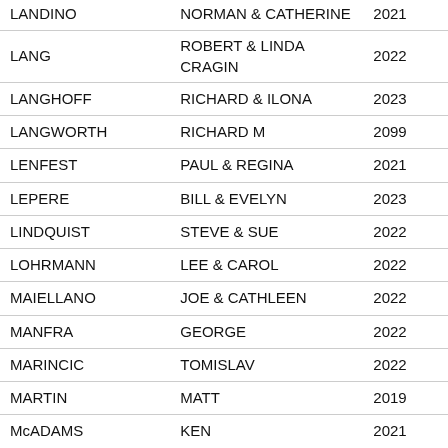| Last Name | First Name(s) | Year |
| --- | --- | --- |
| LANDINO | NORMAN & CATHERINE | 2021 |
| LANG | ROBERT & LINDA CRAGIN | 2022 |
| LANGHOFF | RICHARD & ILONA | 2023 |
| LANGWORTH | RICHARD M | 2099 |
| LENFEST | PAUL & REGINA | 2021 |
| LEPERE | BILL & EVELYN | 2023 |
| LINDQUIST | STEVE & SUE | 2022 |
| LOHRMANN | LEE & CAROL | 2022 |
| MAIELLANO | JOE & CATHLEEN | 2022 |
| MANFRA | GEORGE | 2022 |
| MARINCIC | TOMISLAV | 2022 |
| MARTIN | MATT | 2019 |
| McADAMS | KEN | 2021 |
| McARDLE | PETER & BARBARA | 2022 |